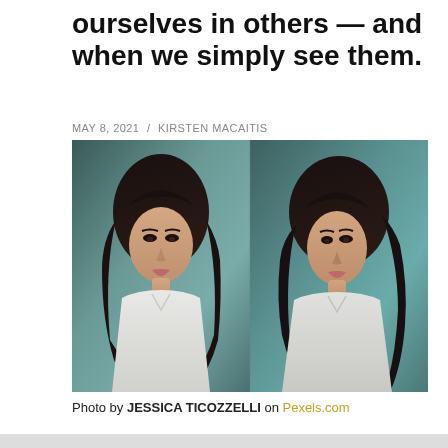ourselves in others — and when we simply see them.
MAY 8, 2021 / KIRSTEN MACAITIS
[Figure (photo): Two young Asian women in white shirts photographed from the chest up against a teal/green background. The woman on the left faces forward, the woman on the right is in slight profile. The image is split down the middle as if mirrored.]
Photo by JESSICA TICOZZELLI on Pexels.com